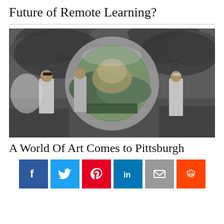Future of Remote Learning?
[Figure (photo): Black and white historical collage image showing workers or soldiers in a quarry/mining scene with a large circular arch or portal in the center, dramatic cloudy sky in the background, and colorized elements within the arch showing a landscape scene.]
A World Of Art Comes to Pittsburgh
[Figure (infographic): Social media share buttons row: Facebook (blue), Twitter (light blue), Pinterest (red), LinkedIn (dark blue), Email (grey), Reddit (orange)]